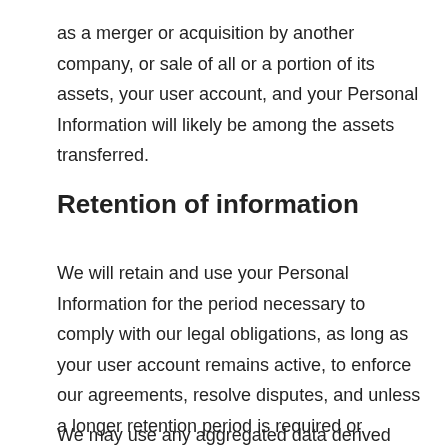as a merger or acquisition by another company, or sale of all or a portion of its assets, your user account, and your Personal Information will likely be among the assets transferred.
Retention of information
We will retain and use your Personal Information for the period necessary to comply with our legal obligations, as long as your user account remains active, to enforce our agreements, resolve disputes, and unless a longer retention period is required or permitted by law.
We may use any aggregated data derived from or